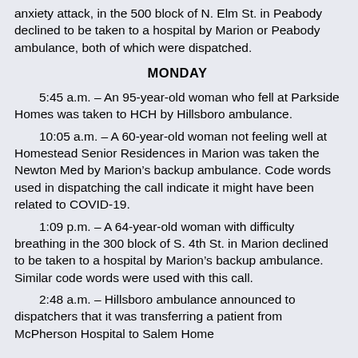anxiety attack, in the 500 block of N. Elm St. in Peabody declined to be taken to a hospital by Marion or Peabody ambulance, both of which were dispatched.
MONDAY
5:45 a.m. – An 95-year-old woman who fell at Parkside Homes was taken to HCH by Hillsboro ambulance.
10:05 a.m. – A 60-year-old woman not feeling well at Homestead Senior Residences in Marion was taken the Newton Med by Marion's backup ambulance. Code words used in dispatching the call indicate it might have been related to COVID-19.
1:09 p.m. – A 64-year-old woman with difficulty breathing in the 300 block of S. 4th St. in Marion declined to be taken to a hospital by Marion's backup ambulance. Similar code words were used with this call.
2:48 a.m. – Hillsboro ambulance announced to dispatchers that it was transferring a patient from McPherson Hospital to Salem Home…